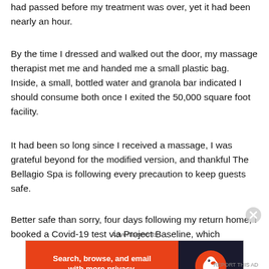had passed before my treatment was over, yet it had been nearly an hour.
By the time I dressed and walked out the door, my massage therapist met me and handed me a small plastic bag. Inside, a small, bottled water and granola bar indicated I should consume both once I exited the 50,000 square foot facility.
It had been so long since I received a massage, I was grateful beyond for the modified version, and thankful The Bellagio Spa is following every precaution to keep guests safe.
Better safe than sorry, four days following my return home, I booked a Covid-19 test via Project Baseline, which
Advertisements
[Figure (screenshot): DuckDuckGo advertisement banner: orange left panel with white text 'Search, browse, and email with more privacy. All in One Free App' and dark right panel with DuckDuckGo logo.]